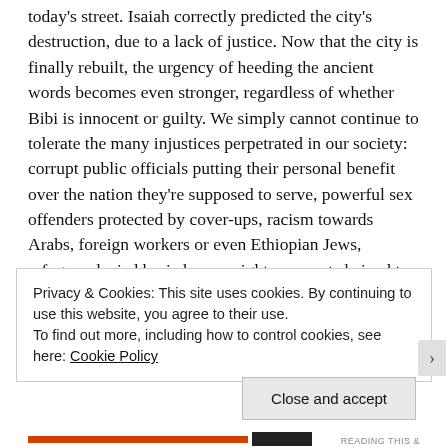today's street. Isaiah correctly predicted the city's destruction, due to a lack of justice. Now that the city is finally rebuilt, the urgency of heeding the ancient words becomes even stronger, regardless of whether Bibi is innocent or guilty. We simply cannot continue to tolerate the many injustices perpetrated in our society: corrupt public officials putting their personal benefit over the nation they're supposed to serve, powerful sex offenders protected by cover-ups, racism towards Arabs, foreign workers or even Ethiopian Jews, refugees denied basic human rights, agunot chained to marriages with abusive husbands...unfortunately the list goes on and on.
Privacy & Cookies: This site uses cookies. By continuing to use this website, you agree to their use.
To find out more, including how to control cookies, see here: Cookie Policy
Close and accept